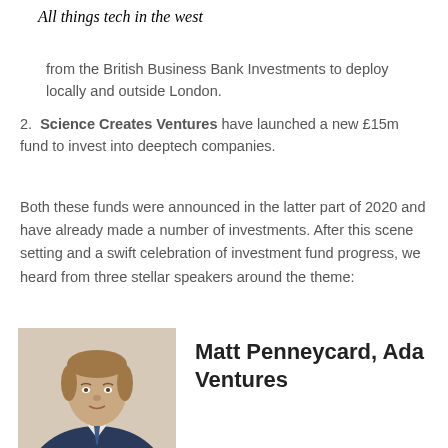All things tech in the west
from the British Business Bank Investments to deploy locally and outside London.
Science Creates Ventures have launched a new £15m fund to invest into deeptech companies.
Both these funds were announced in the latter part of 2020 and have already made a number of investments. After this scene setting and a swift celebration of investment fund progress, we heard from three stellar speakers around the theme:
[Figure (photo): Headshot photo of Matt Penneycard, a man in a suit with brown hair]
Matt Penneycard, Ada Ventures